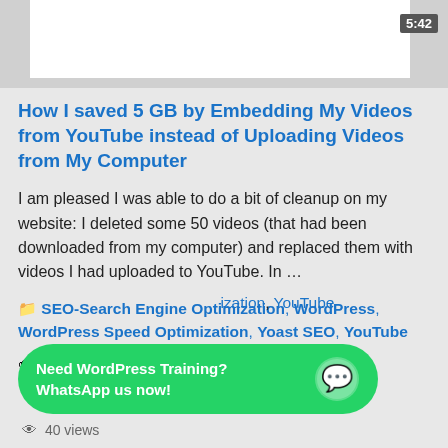[Figure (screenshot): Video thumbnail with white background and timestamp 5:42]
How I saved 5 GB by Embedding My Videos from YouTube instead of Uploading Videos from My Computer
I am pleased I was able to do a bit of cleanup on my website: I deleted some 50 videos (that had been downloaded from my computer) and replaced them with videos I had uploaded to YouTube. In …
SEO-Search Engine Optimization, WordPress, WordPress Speed Optimization, Yoast SEO, YouTube
Embedding videos, uploading videos to WordPress, speed optimization, YouTube
[Figure (other): Green WhatsApp CTA bar: Need WordPress Training? WhatsApp us now!]
40 views